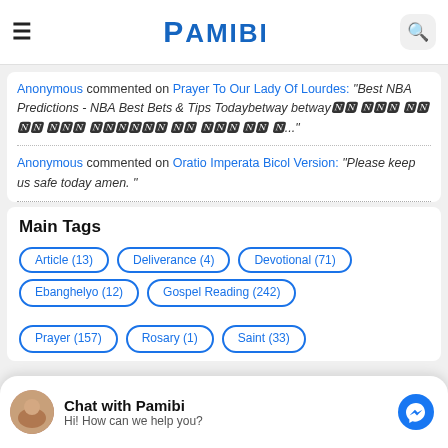PAMIBI
Anonymous commented on Prayer To Our Lady Of Lourdes: "Best NBA Predictions - NBA Best Bets & Tips Todaybetway betway🅽 🅽🅽🅽 🅽🅽 🅽🅽 🅽🅽🅽 🅽🅽🅽🅽🅽🅽 🅽🅽 🅽🅽🅽 🅽🅽 🅽..."
Anonymous commented on Oratio Imperata Bicol Version: "Please keep us safe today amen."
Main Tags
Article (13)
Deliverance (4)
Devotional (71)
Ebanghelyo (12)
Gospel Reading (242)
Prayer (157)
Rosary (1)
Saint (33)
Chat with Pamibi
Hi! How can we help you?